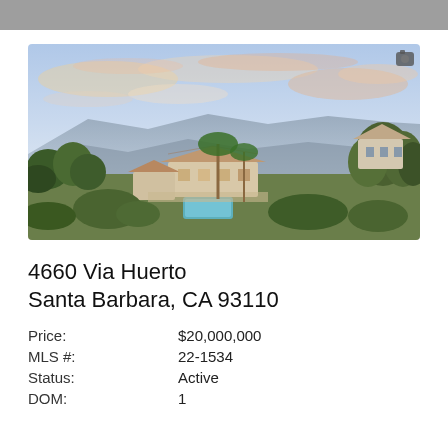[Figure (photo): Aerial drone photo of a Mediterranean-style luxury estate in Santa Barbara, CA, with mountains in the background and a colorful sunset sky. The property features a pool, lush landscaping, and multiple structures.]
4660 Via Huerto
Santa Barbara, CA 93110
| Price: | $20,000,000 |
| MLS #: | 22-1534 |
| Status: | Active |
| DOM: | 1 |